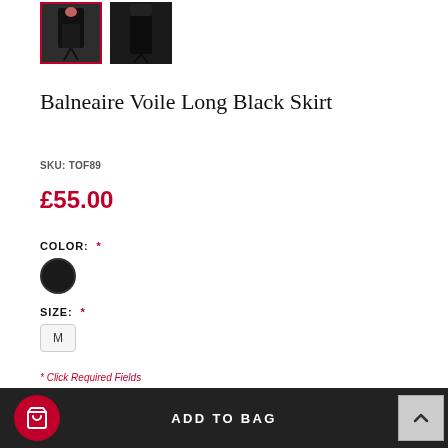[Figure (photo): Two thumbnail photos of a black voile long skirt on a model. The first thumbnail has a red border indicating it is selected.]
Balneaire Voile Long Black Skirt
SKU: TOF89
£55.00
COLOR: *
[Figure (other): Black circular color swatch indicating the selected color is black.]
SIZE: *
M
* Click Required Fields
ADD TO BAG